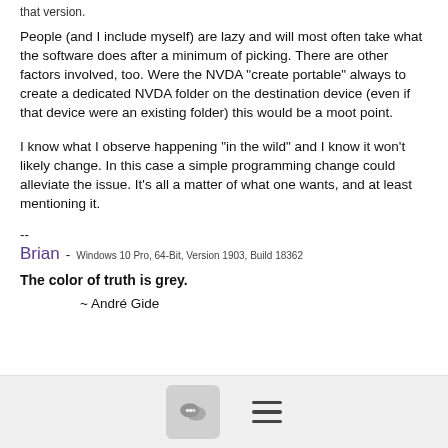that version.
People (and I include myself) are lazy and will most often take what the software does after a minimum of picking.   There are other factors involved, too.   Were the NVDA "create portable" always to create a dedicated NVDA folder on the destination device (even if that device were an existing folder) this would be a moot point.
I know what I observe happening "in the wild" and I know it won't likely change.   In this case a simple programming change could alleviate the issue.  It's all a matter of what one wants, and at least mentioning it.
--
Brian - Windows 10 Pro, 64-Bit, Version 1903, Build 18362
The color of truth is grey.
~ André Gide
[Figure (screenshot): Bottom navigation bar with a chat/comment button icon and a hamburger menu icon]